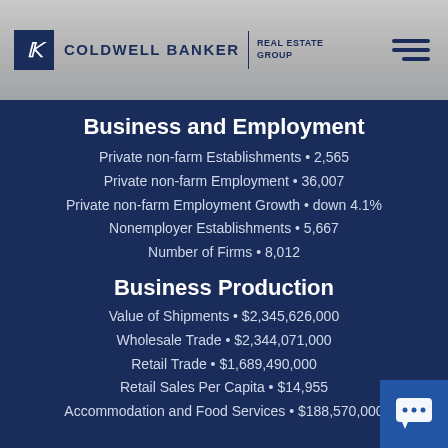Coldwell Banker Real Estate Group
Business and Employment
Private non-farm Establishments • 2,565
Private non-farm Employment • 36,007
Private non-farm Employment Growth • down 4.1%
Nonemployer Establishments • 5,667
Number of Firms • 8,012
Business Production
Value of Shipments • $2,345,626,000
Wholesale Trade • $2,344,071,000
Retail Trade • $1,689,490,000
Retail Sales Per Capita • $14,955
Accommodation and Food Services • $188,570,000